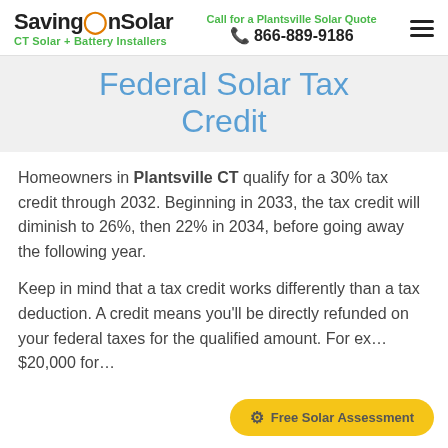SavingOnSolar — CT Solar + Battery Installers | Call for a Plantsville Solar Quote | 866-889-9186
Federal Solar Tax Credit
Homeowners in Plantsville CT qualify for a 30% tax credit through 2032. Beginning in 2033, the tax credit will diminish to 26%, then 22% in 2034, before going away the following year.
Keep in mind that a tax credit works differently than a tax deduction. A credit means you'll be directly refunded on your federal taxes for the qualified amount. For ex… $20,000 for…